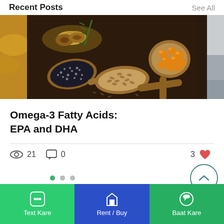Recent Posts   See All
[Figure (photo): Photo of wooden spoons with various seeds and nuts: chia seeds, flax seeds, walnuts (rosemary herb visible), and amber fish oil capsules on a dark background. Partial yellow flower image on the left edge and gray image on the right edge.]
Omega-3 Fatty Acids: EPA and DHA
21 views  0 comments  3 likes
[Figure (infographic): Pagination dots: one teal active dot and two gray inactive dots. Scroll-to-top button (circle with up chevron).]
Text Kare   Rent / Buy   Baat Kare